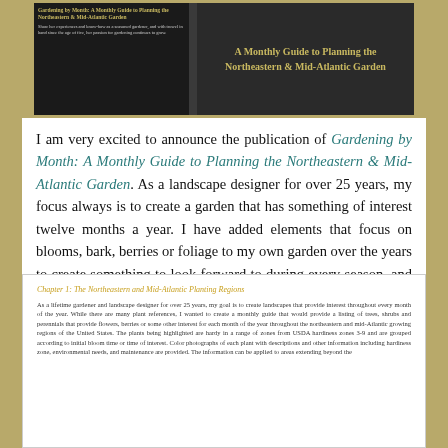[Figure (illustration): Book cover image for 'Gardening by Month: A Monthly Guide to Planning the Northeastern & Mid-Atlantic Garden'. Dark background with author photo/text on left panel and title text in gold on right panel.]
I am very excited to announce the publication of Gardening by Month: A Monthly Guide to Planning the Northeastern & Mid-Atlantic Garden. As a landscape designer for over 25 years, my focus always is to create a garden that has something of interest twelve months a year. I have added elements that focus on blooms, bark, berries or foliage to my own garden over the years to create something to look forward to during every season, and I now have a 12-month garden to enjoy. I have created this book so that you too can experience continuing interest in your space throughout every month of the year.
Chapter 1: The Northeastern and Mid-Atlantic Planting Regions
As a lifetime gardener and landscape designer for over 25 years, my goal is to create landscapes that provide interest throughout every month of the year. While there are many plant references, I wanted to create a monthly guide that would provide a listing of trees, shrubs and perennials that provide flowers, berries or some other interest for each month of the year throughout the northeastern and mid-Atlantic growing regions of the United States. The plants being highlighted are hardy in a range of zones from USDA hardiness zones 3-9 and are grouped according to initial bloom time or time of interest. Color photographs of each plant with descriptions and other information including hardiness zone, environmental needs, and maintenance are provided. The information can be applied to areas extending beyond the